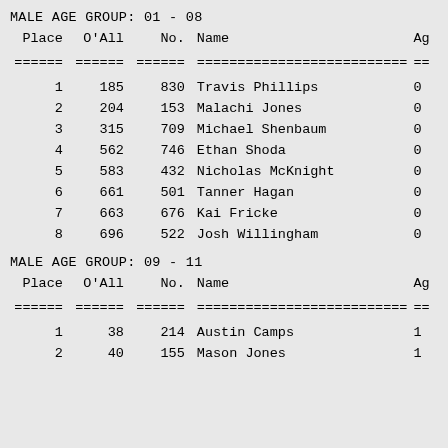MALE AGE GROUP:  01 - 08
| Place | O'All | No. | Name | Ag |
| --- | --- | --- | --- | --- |
| 1 | 185 | 830 | Travis Phillips | 0 |
| 2 | 204 | 153 | Malachi Jones | 0 |
| 3 | 315 | 709 | Michael Shenbaum | 0 |
| 4 | 562 | 746 | Ethan Shoda | 0 |
| 5 | 583 | 432 | Nicholas McKnight | 0 |
| 6 | 661 | 501 | Tanner Hagan | 0 |
| 7 | 663 | 676 | Kai Fricke | 0 |
| 8 | 696 | 522 | Josh Willingham | 0 |
MALE AGE GROUP:  09 - 11
| Place | O'All | No. | Name | Ag |
| --- | --- | --- | --- | --- |
| 1 | 38 | 214 | Austin Camps | 1 |
| 2 | 40 | 155 | Mason Jones | 1 |